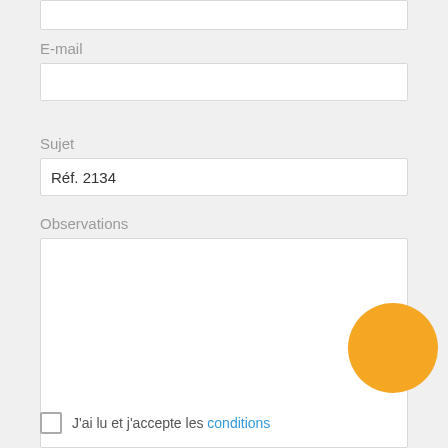E-mail
Sujet
Réf. 2134
Observations
[Figure (other): Orange circular button/FAB overlapping the observations textarea]
J'ai lu et j'accepte les conditions